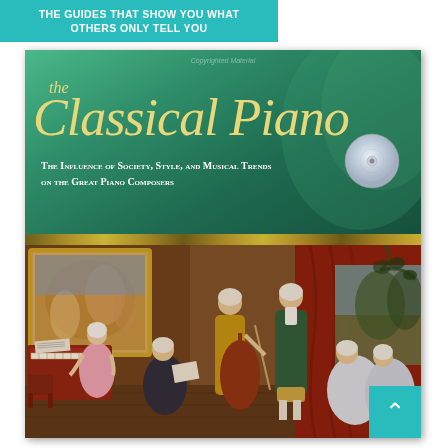THE GUIDES THAT SHOW YOU WHAT OTHERS ONLY TELL YOU
[Figure (photo): Book cover of 'the Classical Piano' — The Influence of Society, Style, and Musical Trends on the Great Piano Composers. Top portion shows teal/green decorative background with gold italic title text and a CD icon. Bottom portion shows a 18th-century oil painting of aristocratic musicians with a harpsichord, cello, and other instruments in an interior scene.]
the Classical Piano
The Influence of Society, Style, and Musical Trends on the Great Piano Composers